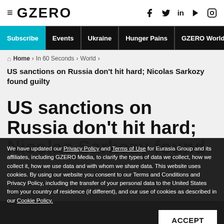GZERO
Subscribe | Events | Ukraine | Hunger Pains | GZERO World
Home › In 60 Seconds › World ›
US sanctions on Russia don't hit hard; Nicolas Sarkozy found guilty
US sanctions on Russia don't hit hard; Nicolas Sarkozy found
We have updated our Privacy Policy and Terms of Use for Eurasia Group and its affiliates, including GZERO Media, to clarify the types of data we collect, how we collect it, how we use data and with whom we share data. This website uses cookies. By using our website you consent to our Terms and Conditions and Privacy Policy, including the transfer of your personal data to the United States from your country of residence (if different), and our use of cookies as described in our Cookie Policy.
ACCEPT